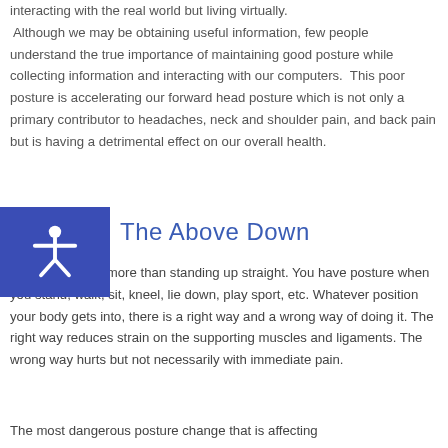interacting with the real world but living virtually. Although we may be obtaining useful information, few people understand the true importance of maintaining good posture while collecting information and interacting with our computers. This poor posture is accelerating our forward head posture which is not only a primary contributor to headaches, neck and shoulder pain, and back pain but is having a detrimental effect on our overall health.
The Above Down
Good posture is more than standing up straight. You have posture when you stand, walk, sit, kneel, lie down, play sport, etc. Whatever position your body gets into, there is a right way and a wrong way of doing it. The right way reduces strain on the supporting muscles and ligaments. The wrong way hurts but not necessarily with immediate pain.
The most dangerous posture change that is affecting